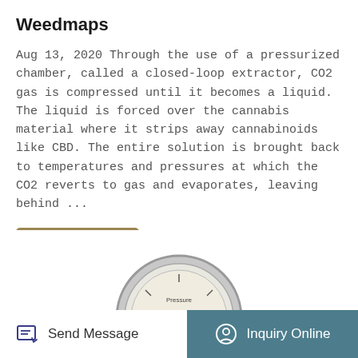Weedmaps
Aug 13, 2020 Through the use of a pressurized chamber, called a closed-loop extractor, CO2 gas is compressed until it becomes a liquid. The liquid is forced over the cannabis material where it strips away cannabinoids like CBD. The entire solution is brought back to temperatures and pressures at which the CO2 reverts to gas and evaporates, leaving behind ...
[Figure (other): A 'Learn More' button with gold/tan background color]
[Figure (other): A circular pressure gauge partially visible at the bottom of the page]
Send Message   Inquiry Online